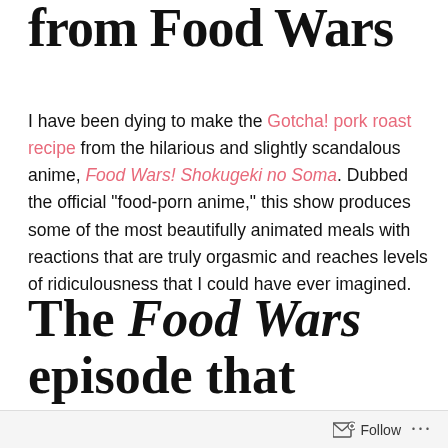from Food Wars
I have been dying to make the Gotcha! pork roast recipe from the hilarious and slightly scandalous anime, Food Wars! Shokugeki no Soma. Dubbed the official "food-porn anime," this show produces some of the most beautifully animated meals with reactions that are truly orgasmic and reaches levels of ridiculousness that I could have ever imagined.
The Food Wars episode that started it all
Follow